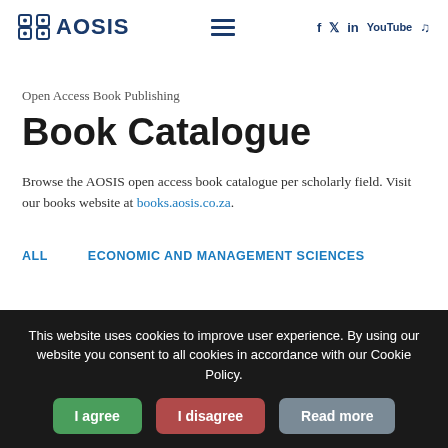AOSIS — navigation header with logo, menu icon, and social icons (f, Twitter, in, YouTube, SoundCloud)
Open Access Book Publishing
Book Catalogue
Browse the AOSIS open access book catalogue per scholarly field. Visit our books website at books.aosis.co.za.
ALL
ECONOMIC AND MANAGEMENT SCIENCES
This website uses cookies to improve user experience. By using our website you consent to all cookies in accordance with our Cookie Policy.